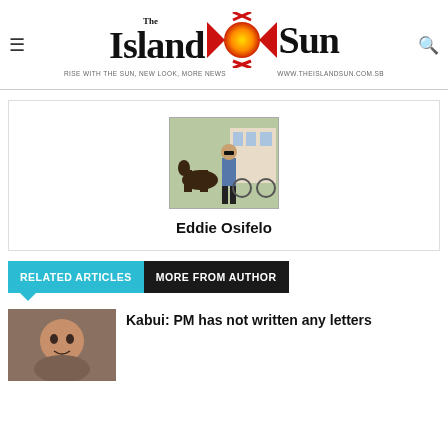The Island Sun — RISE WITH THE SUN, NEW LOOK, MORE NEWS — www.theislandsun.com.sb
[Figure (photo): Author profile photo of Eddie Osifelo — man standing in front of a horse-drawn carriage]
Eddie Osifelo
RELATED ARTICLES   MORE FROM AUTHOR
[Figure (photo): Thumbnail photo of a man, accompanying the article about Kabui]
Kabui: PM has not written any letters